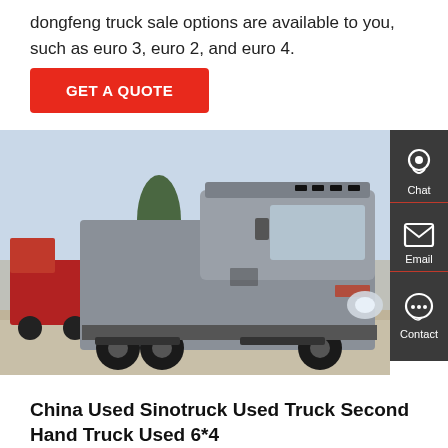dongfeng truck sale options are available to you, such as euro 3, euro 2, and euro 4.
GET A QUOTE
[Figure (photo): A silver Sinotruck HOWO heavy-duty tractor truck (6x4 configuration) parked on a paved lot with a red truck visible on the left side, trees and utility poles in the background. A dark sidebar UI panel on the right shows Chat, Email, and Contact icons.]
China Used Sinotruck Used Truck Second Hand Truck Used 6*4